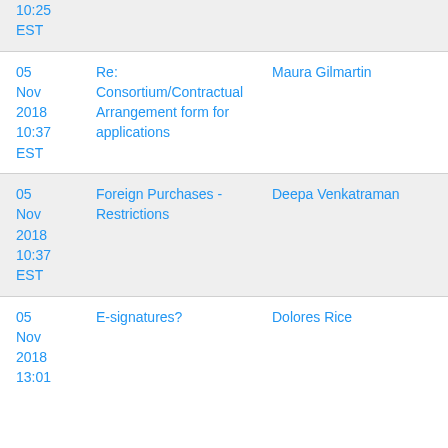| Date | Subject | Author |
| --- | --- | --- |
| 10:25
EST |  |  |
| 05 Nov 2018
10:37 EST | Re: Consortium/Contractual Arrangement form for applications | Maura Gilmartin |
| 05 Nov 2018
10:37 EST | Foreign Purchases - Restrictions | Deepa Venkatraman |
| 05 Nov 2018
13:01 | E-signatures? | Dolores Rice |